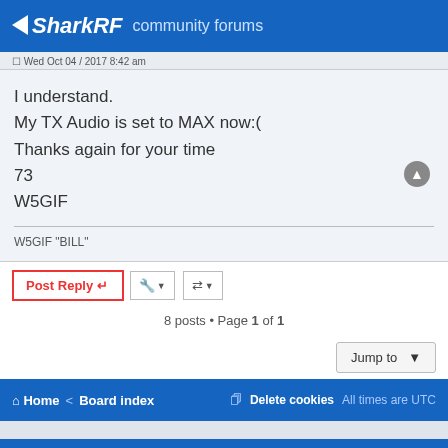SharkRF community forums
[truncated username/date line]
I understand.
My TX Audio is set to MAX now:(
Thanks again for your time
73
W5GIF
W5GIF "BILL"
Post Reply  [tool buttons]
8 posts • Page 1 of 1
Jump to
Home < Board index   Delete cookies   All times are UTC
We use cookies to ensure that we give you the best experience on our website.
Got it!